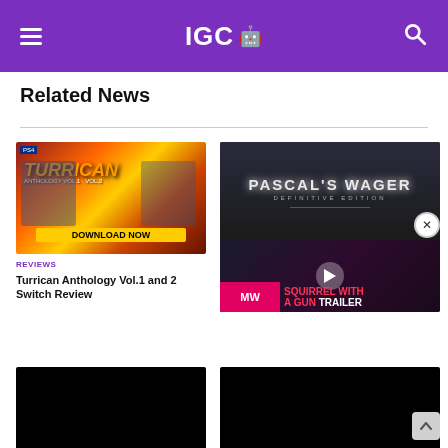IGC 🤖
Related News
[Figure (screenshot): Turrican Anthology Vol.1 and Vol.2 promotional image with 'DOWNLOAD NOW' banner, PS4 label, orange/red fiery background with armored characters]
REVIEWS
Turrican Anthology Vol.1 and 2 Switch Review
[Figure (screenshot): Pascal's Wager Definitive Edition game image showing armored figure with tree branches, and below it a video thumbnail for 'SQUIRREL WITH A GUN TRAILER' with MW logo badge and play button]
[Figure (screenshot): Black placeholder image (bottom left card)]
[Figure (screenshot): Black placeholder image (bottom right card)]